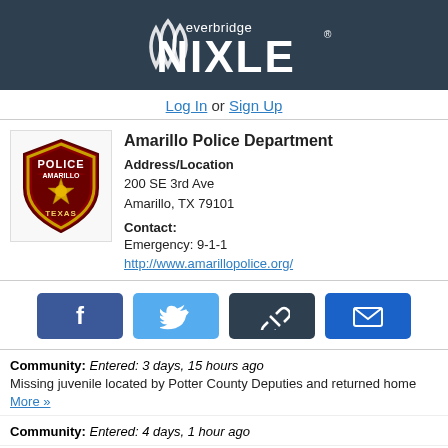[Figure (logo): Everbridge Nixle logo - white text and wave icon on dark teal background]
Log In or Sign Up
[Figure (logo): Amarillo Police Department badge/patch - shield shape with POLICE AMARILLO TEXAS text and gold star]
Amarillo Police Department
Address/Location
200 SE 3rd Ave
Amarillo, TX 79101
Contact:
Emergency: 9-1-1
http://www.amarillopolice.org/
[Figure (infographic): Social sharing buttons: Facebook, Twitter, chain-link/share, and email envelope icons]
Community: Entered: 3 days, 15 hours ago
Missing juvenile located by Potter County Deputies and returned home More »
Community: Entered: 4 days, 1 hour ago